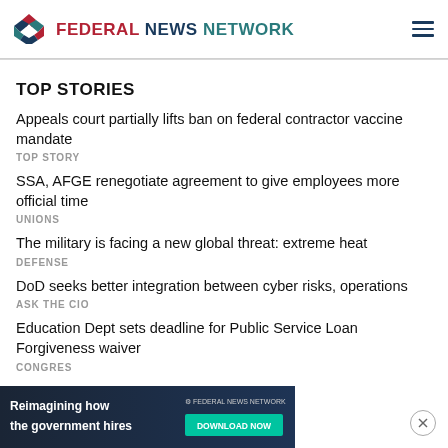FEDERAL NEWS NETWORK
TOP STORIES
Appeals court partially lifts ban on federal contractor vaccine mandate
SSA, AFGE renegotiate agreement to give employees more official time
The military is facing a new global threat: extreme heat
DoD seeks better integration between cyber risks, operations
Education Dept sets deadline for Public Service Loan Forgiveness waiver
[Figure (screenshot): Advertisement banner: Reimagining how the government hires — Federal News Network DOWNLOAD NOW]